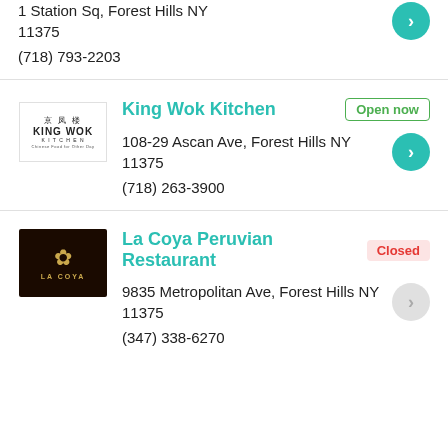1 Station Sq, Forest Hills NY 11375
(718) 793-2203
[Figure (logo): King Wok Kitchen logo with Chinese characters and English text]
King Wok Kitchen
Open now
108-29 Ascan Ave, Forest Hills NY 11375
(718) 263-3900
[Figure (logo): La Coya Peruvian Restaurant logo, dark background with gold emblem]
La Coya Peruvian Restaurant
Closed
9835 Metropolitan Ave, Forest Hills NY 11375
(347) 338-6270